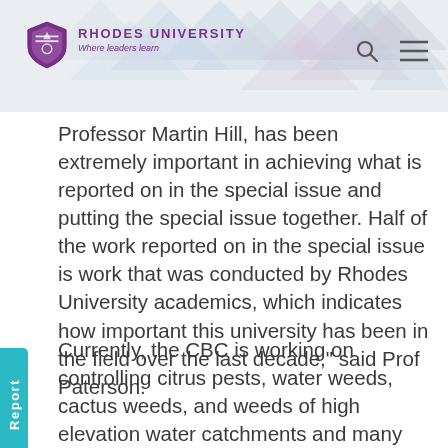Rhodes University — Where leaders learn
Professor Martin Hill, has been extremely important in achieving what is reported on in the special issue and putting the special issue together. Half of the work reported on in the special issue is work that was conducted by Rhodes University academics, which indicates how important this university has been in the field over the last decade," said Prof Paterson.
Currently, the CBC is working on controlling citrus pests, water weeds, cactus weeds, and weeds of high elevation water catchments and many other similar projects. "I work on cactus weeds and run a facility that rears biocontrol agents that are released all over the country. We have released agents at hundreds of sites around the country. A CBC PhD student, Zezethu Mnqeta, who graduated in April this year, has shown that these releases